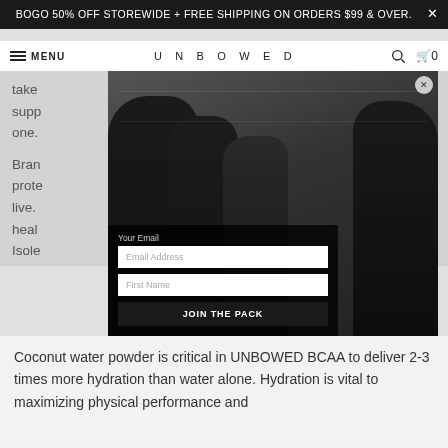BOGO 50% OFF STOREWIDE + FREE SHIPPING ON ORDERS $99 & OVER.
MENU   UNBOWED   🔍  🛒 0
take supp one.
Brand prote live. the heal h. Isole rebu endu
[Figure (photo): Four athletes in black athletic wear posed in front of a metallic/industrial background. Three women and one man visible, one larger man on the left side partially cut off. A popup/modal overlay is displayed over the photo with a discount offer form.]
GET 25% OFF YOUR FIRST ORDER
Your Email
Email Address
First Name
JOIN THE PACK
Coconut water powder is critical in UNBOWED BCAA to deliver 2-3 times more hydration than water alone. Hydration is vital to maximizing physical performance and